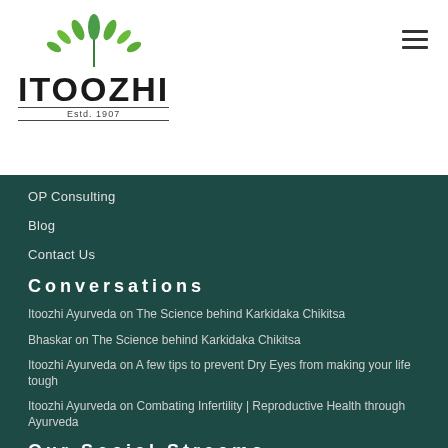[Figure (logo): Itoozhi logo with green leaves above the company name text, Estd. 1907]
OP Consulting
Blog
Contact Us
Conversations
Itoozhi Ayurveda on The Science behind Karkidaka Chikitsa
Bhaskar on The Science behind Karkidaka Chikitsa
Itoozhi Ayurveda on A few tips to prevent Dry Eyes from making your life tough
Itoozhi Ayurveda on Combating Infertility | Reproductive Health through Ayurveda
Our Social Streams
[Figure (infographic): Social media icons: Facebook, Twitter, LinkedIn, YouTube, Instagram]